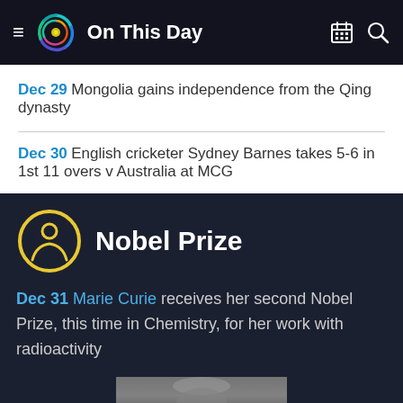On This Day
Dec 29 Mongolia gains independence from the Qing dynasty
Dec 30 English cricketer Sydney Barnes takes 5-6 in 1st 11 overs v Australia at MCG
Nobel Prize
Dec 31 Marie Curie receives her second Nobel Prize, this time in Chemistry, for her work with radioactivity
[Figure (photo): Black and white portrait photograph, partially visible at bottom of page]